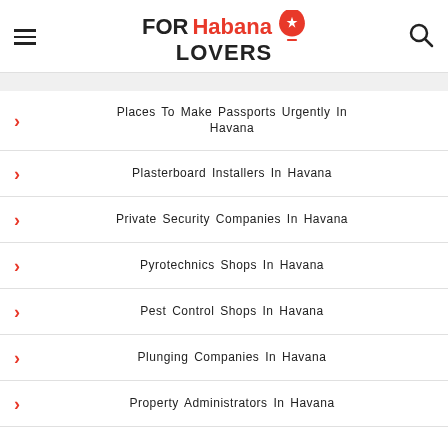FOR Habana LOVERS
Places To Make Passports Urgently In Havana
Plasterboard Installers In Havana
Private Security Companies In Havana
Pyrotechnics Shops In Havana
Pest Control Shops In Havana
Plunging Companies In Havana
Property Administrators In Havana